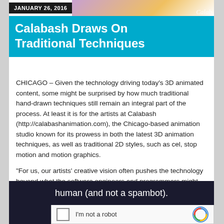JANUARY 26, 2016
Calabash Draws On Traditional Techniques
CHICAGO – Given the technology driving today's 3D animated content, some might be surprised by how much traditional hand-drawn techniques still remain an integral part of the process. At least it is for the artists at Calabash (http://calabashanimation.com), the Chicago-based animation studio known for its prowess in both the latest 3D animation techniques, as well as traditional 2D styles, such as cel, stop motion and motion graphics.
“For us, our artists’ creative vision often pushes the technology beyond what the software engineers and programmers might have envisioned,” says Sean Henry, Calabash executive producer. “CG has revolutionized the industry in amazing ways, but computer animation still has some inherent drawbacks. It takes experience and effort to imbue CG with the warmth and personality that has always come more naturally with traditional media.”
[Figure (other): CAPTCHA verification overlay with text 'human (and not a spambot).' and reCAPTCHA widget with 'I'm not a robot' checkbox and logo]